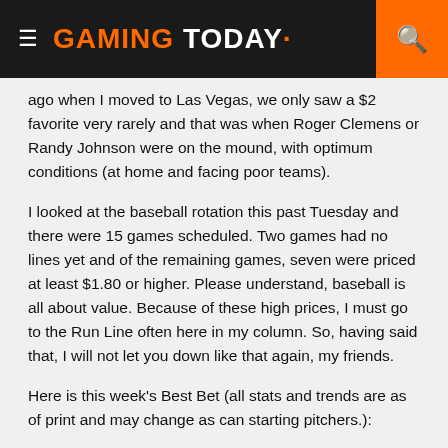≡ GAMING TODAY· 🔍
ago when I moved to Las Vegas, we only saw a $2 favorite very rarely and that was when Roger Clemens or Randy Johnson were on the mound, with optimum conditions (at home and facing poor teams).
I looked at the baseball rotation this past Tuesday and there were 15 games scheduled. Two games had no lines yet and of the remaining games, seven were priced at least $1.80 or higher. Please understand, baseball is all about value. Because of these high prices, I must go to the Run Line often here in my column. So, having said that, I will not let you down like that again, my friends.
Here is this week's Best Bet (all stats and trends are as of print and may change as can starting pitchers.):
Wednesday
Take Chicago over Arizona: With the Brewers just 2.5 GB...